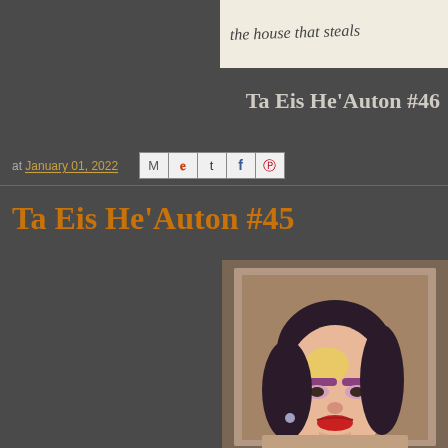[Figure (photo): Top partial image showing handwritten text 'the house that steals' on a light/cream background]
Ta Eis He’Auton #46
at January 01, 2022
[Figure (screenshot): Social sharing icons: Email, Blogger, Twitter, Facebook, Pinterest]
Ta Eis He’Auton #45
[Figure (illustration): Painting/artwork showing a woman's face with dark hair, purple eyeshadow, red lips, on a brownish background]